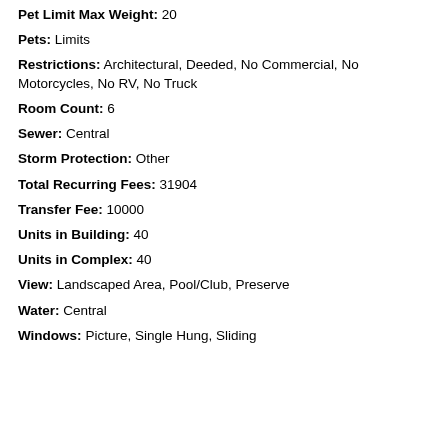Pet Limit Max Weight: 20
Pets: Limits
Restrictions: Architectural, Deeded, No Commercial, No Motorcycles, No RV, No Truck
Room Count: 6
Sewer: Central
Storm Protection: Other
Total Recurring Fees: 31904
Transfer Fee: 10000
Units in Building: 40
Units in Complex: 40
View: Landscaped Area, Pool/Club, Preserve
Water: Central
Windows: Picture, Single Hung, Sliding